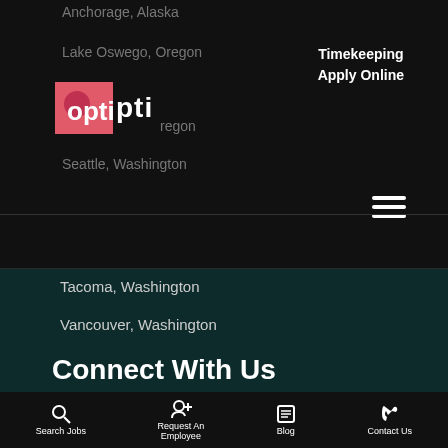Anchorage, Alaska
Lake Oswego, Oregon
[Figure (logo): Opti staffing group logo - pink square with circle and white text 'opti']
Portland, Oregon
Timekeeping
Apply Online
Seattle, Washington
Tacoma, Washington
Vancouver, Washington
Connect With Us
[Figure (infographic): Social media icons for Facebook, Twitter, LinkedIn, Instagram - teal circular buttons]
© 2022 Opti Staffing Group
Search Jobs | Request An Employee | Blog | Contact Us